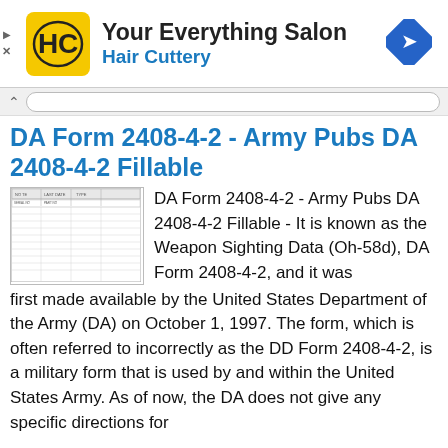[Figure (logo): Hair Cuttery advertisement banner with HC logo, 'Your Everything Salon' text, 'Hair Cuttery' subtitle, and navigation icon]
DA Form 2408-4-2 - Army Pubs DA 2408-4-2 Fillable
[Figure (screenshot): Thumbnail image of DA Form 2408-4-2, a military form with rows and columns for weapon sighting data]
DA Form 2408-4-2 - Army Pubs DA 2408-4-2 Fillable - It is known as the Weapon Sighting Data (Oh-58d), DA Form 2408-4-2, and it was first made available by the United States Department of the Army (DA) on October 1, 1997. The form, which is often referred to incorrectly as the DD Form 2408-4-2, is a military form that is used by and within the United States Army. As of now, the DA does not give any specific directions for